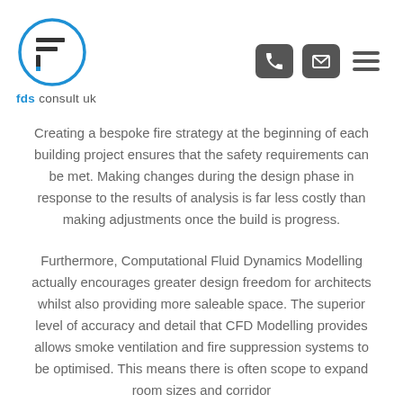[Figure (logo): FDS Consult UK logo — a blue circle with a stylized F/equals-sign icon inside, with 'fds consult uk' text below in blue and grey]
[Figure (other): Navigation icons: phone icon (dark rounded square), email envelope icon (dark rounded square), and hamburger menu (three dark horizontal lines)]
Creating a bespoke fire strategy at the beginning of each building project ensures that the safety requirements can be met. Making changes during the design phase in response to the results of analysis is far less costly than making adjustments once the build is progress.
Furthermore, Computational Fluid Dynamics Modelling actually encourages greater design freedom for architects whilst also providing more saleable space. The superior level of accuracy and detail that CFD Modelling provides allows smoke ventilation and fire suppression systems to be optimised. This means there is often scope to expand room sizes and corridor